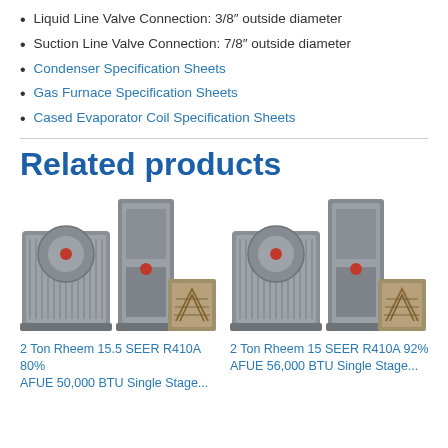Liquid Line Valve Connection: 3/8″ outside diameter
Suction Line Valve Connection: 7/8″ outside diameter
Condenser Specification Sheets
Gas Furnace Specification Sheets
Cased Evaporator Coil Specification Sheets
Related products
[Figure (photo): 2 Ton Rheem 15.5 SEER R410A HVAC system with outdoor condenser unit, indoor furnace, and evaporator coil]
2 Ton Rheem 15.5 SEER R410A 80% AFUE 50,000 BTU Single Stage...
[Figure (photo): 2 Ton Rheem 15 SEER R410A HVAC system with outdoor condenser unit, indoor furnace, and evaporator coil]
2 Ton Rheem 15 SEER R410A 92% AFUE 56,000 BTU Single Stage...